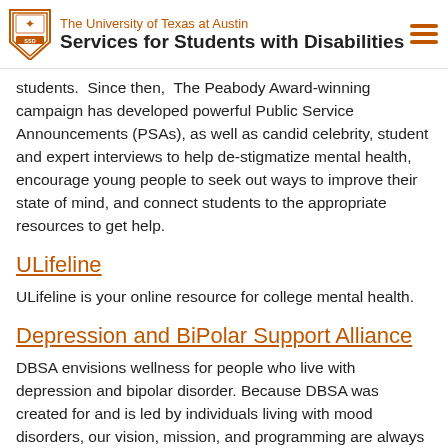The University of Texas at Austin | Services for Students with Disabilities
students.  Since then,  The Peabody Award-winning campaign has developed powerful Public Service Announcements (PSAs), as well as candid celebrity, student and expert interviews to help de-stigmatize mental health, encourage young people to seek out ways to improve their state of mind, and connect students to the appropriate resources to get help.
ULifeline
ULifeline is your online resource for college mental health.
Depression and BiPolar Support Alliance
DBSA envisions wellness for people who live with depression and bipolar disorder. Because DBSA was created for and is led by individuals living with mood disorders, our vision, mission, and programming are always informed by the personal, lived experience of